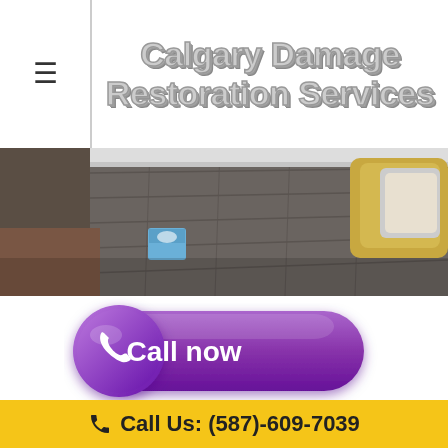Calgary Damage Restoration Services
[Figure (photo): Interior room photo showing a damaged wooden floor with a tissue box, carpet edge, and cushions with decorative pillows in the background]
[Figure (other): Purple 'Call now' button with phone icon circle on the left]
We are on top of the market for the services that include mold removal, smoke damage, fire damage, and water damage. As
Call Us: (587)-609-7039